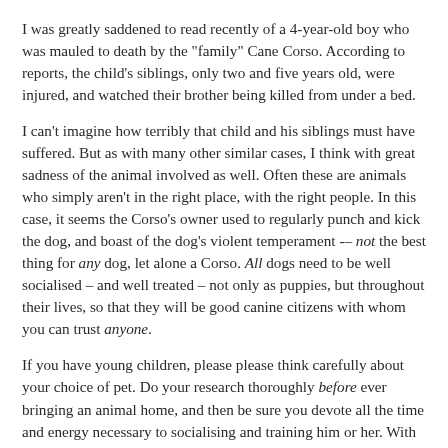I was greatly saddened to read recently of a 4-year-old boy who was mauled to death by the "family" Cane Corso. According to reports, the child's siblings, only two and five years old, were injured, and watched their brother being killed from under a bed.
I can't imagine how terribly that child and his siblings must have suffered. But as with many other similar cases, I think with great sadness of the animal involved as well. Often these are animals who simply aren't in the right place, with the right people. In this case, it seems the Corso's owner used to regularly punch and kick the dog, and boast of the dog's violent temperament -– not the best thing for any dog, let alone a Corso. All dogs need to be well socialised – and well treated – not only as puppies, but throughout their lives, so that they will be good canine citizens with whom you can trust anyone.
If you have young children, please please think carefully about your choice of pet. Do your research thoroughly before ever bringing an animal home, and then be sure you devote all the time and energy necessary to socialising and training him or her. With dogs, there are breed generalisations that should not be dismissed –- for example, a Cane Corso is a powerful dog that has a naturally